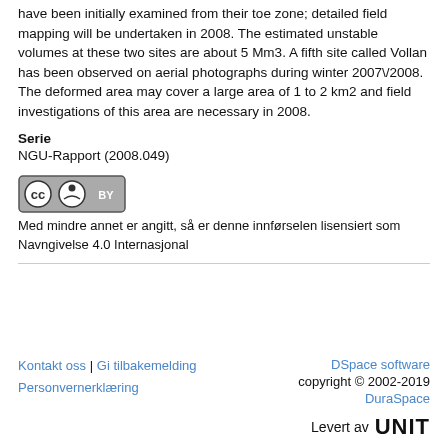have been initially examined from their toe zone; detailed field mapping will be undertaken in 2008. The estimated unstable volumes at these two sites are about 5 Mm3. A fifth site called Vollan has been observed on aerial photographs during winter 2007/2008. The deformed area may cover a large area of 1 to 2 km2 and field investigations of this area are necessary in 2008.
Serie
NGU-Rapport (2008.049)
[Figure (logo): Creative Commons BY license badge]
Med mindre annet er angitt, så er denne innførselen lisensiert som Navngivelse 4.0 Internasjonal
Kontakt oss | Gi tilbakemelding | Personvernerklæring | DSpace software copyright © 2002-2019 DuraSpace | Levert av UNIT